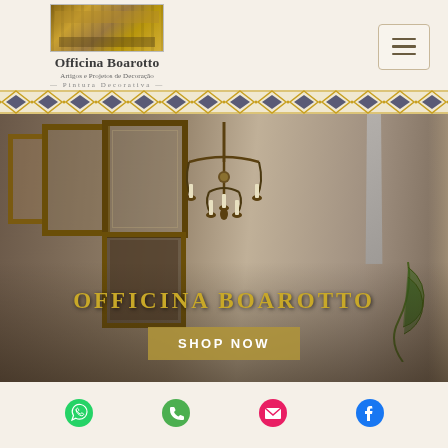[Figure (logo): Officina Boarotto logo image showing a decorated room thumbnail]
Officina Boarotto
Artigos e Projetos de Decoração
Pintura Decorativa
[Figure (illustration): Hamburger menu button (three horizontal lines) in a rounded rectangle]
[Figure (illustration): Decorative geometric border band with diamond and chevron pattern in gold and navy]
[Figure (photo): Interior room photo showing framed artwork on walls, a candelabra chandelier, and decorative elements]
OFFICINA BOAROTTO
SHOP NOW
[Figure (illustration): WhatsApp icon (green)]
[Figure (illustration): Phone/call icon (green)]
[Figure (illustration): Email/envelope icon (red/pink)]
[Figure (illustration): Facebook icon (blue)]